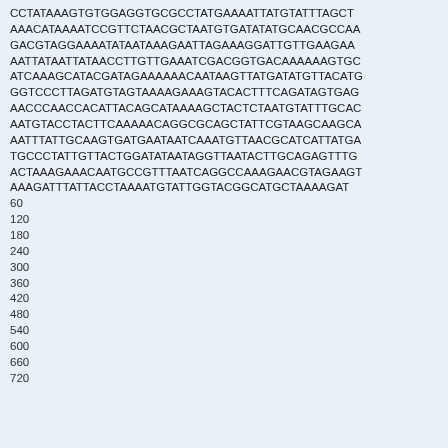CCTATAAAGTGTGGAGGTGCGCCTATGAAAATTATGTATTTAGCT
AAACATAAAATCCGTTCTAACGCTAATGTGATATATGCAACGCCAA
GACGTAGGAAAATATAATAAAGAATTAGAAAGGATTGTTGAAGAA
AATTATAATTATAACCTTGTTGAAATCGACGGTGACAAAAAAGTGC
ATCAAAGCATACGATAGAAAAAACAATAAGTTATGATATGTTACATG
GGTCCCTTAGATGTAGTAAAAGAAAGTACACTTTCAGATAGTGAG
AACCCAACCACATTACAGCATAAAAGCTACTCTAATGTATTTGCAC
AATGTACCTACTTCAAAAACAGGCGCAGCTATTCGTAAGCAAGCA
AATTTATTGCAAGTGATGAATAATCAAATGTTAACGCATCATTATGA
TGCCCTATTGTTACTGGATATAATAGGTTAATACTTGCAGAGTTTG
ACTAAAGAAACAATGCCGTTTAATCAGGCCAAAGAACGTAGAAGT
AAAGATTTATTACCTAAAATGTATTGGTACGGCATGCTAAAAGAT
60
120
180
240
300
360
420
480
540
600
660
720